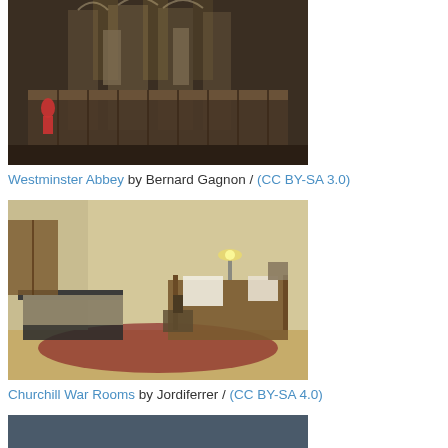[Figure (photo): Interior of Westminster Abbey showing ornate Gothic architecture, choir stalls and stone carvings]
Westminster Abbey by Bernard Gagnon / (CC BY-SA 3.0)
[Figure (photo): Churchill War Rooms interior showing a small room with a bed/cot, desk with lamp, and patterned rug]
Churchill War Rooms by Jordiferrer / (CC BY-SA 4.0)
[Figure (photo): Aerial view of Hyde Park in London showing the park's green space, circular pond/reservoir and surrounding urban area]
Hyde Park by @LondonNPC #NationalParkCity / (CC BY 2.0)
[Figure (photo): Interior corridor or hallway with stone walls, partially visible at bottom of page]